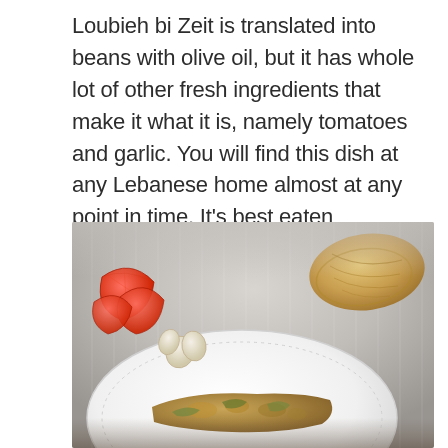Loubieh bi Zeit is translated into beans with olive oil, but it has whole lot of other fresh ingredients that make it what it is, namely tomatoes and garlic. You will find this dish at any Lebanese home almost at any point in time. It’s best eaten cold(although I prefer it a tiny bit warm) with Lebanese bread.
[Figure (photo): A food photo showing a white plate with Lebanese bean dish (Loubieh bi Zeit), with sliced tomatoes and garlic cloves in the background left, and Lebanese flatbread in the background right, all on a light gray wooden table surface.]